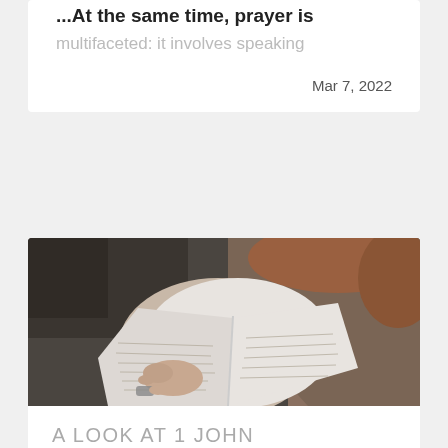...At the same time, prayer is multifaceted: it involves speaking
Mar 7, 2022
[Figure (photo): Overhead view of a person reading an open Bible, wearing a knit sweater, with hands holding the book open]
A LOOK AT 1 JOHN
The book of 1 John is an incredible book of the Bible. While it's only five chapters long, it's packed with so